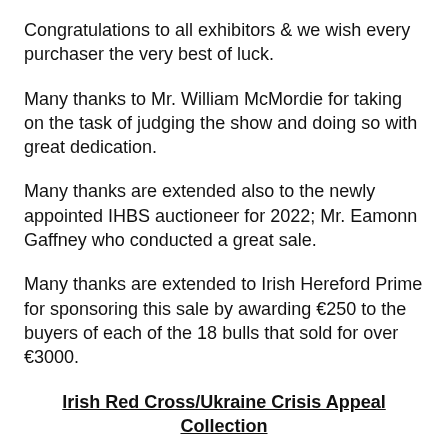Congratulations to all exhibitors & we wish every purchaser the very best of luck.
Many thanks to Mr. William McMordie for taking on the task of judging the show and doing so with great dedication.
Many thanks are extended also to the newly appointed IHBS auctioneer for 2022; Mr. Eamonn Gaffney who conducted a great sale.
Many thanks are extended to Irish Hereford Prime for sponsoring this sale by awarding €250 to the buyers of each of the 18 bulls that sold for over €3000.
Irish Red Cross/Ukraine Crisis Appeal Collection
The Irish Hereford Breed Society & Irish Hereford Prime committed to donating the full commission from this sale